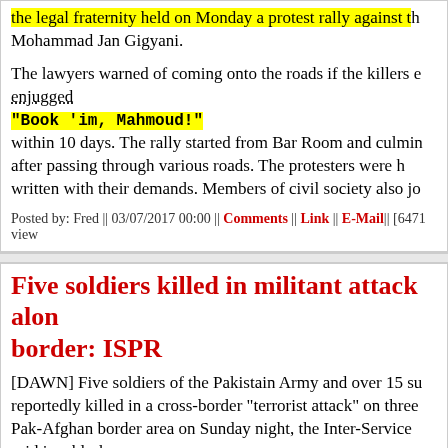the legal fraternity held on Monday a protest rally against the Mohammad Jan Gigyani.
The lawyers warned of coming onto the roads if the killers enjugged
"Book 'im, Mahmoud!"
within 10 days. The rally started from Bar Room and culminated after passing through various roads. The protesters were holding written with their demands. Members of civil society also joined.
Posted by: Fred || 03/07/2017 00:00 || Comments || Link || E-Mail|| [6471 views
Five soldiers killed in militant attack along border: ISPR
[DAWN] Five soldiers of the Pakistain Army and over 15 suspected militants were reportedly killed in a cross-border "terrorist attack" on three military posts in the Pak-Afghan border area on Sunday night, the Inter-Services Public Relations said in a blurb.
In addition to the 15, some 20 suspected forces of Evil were killed during an operation, ISPR said.